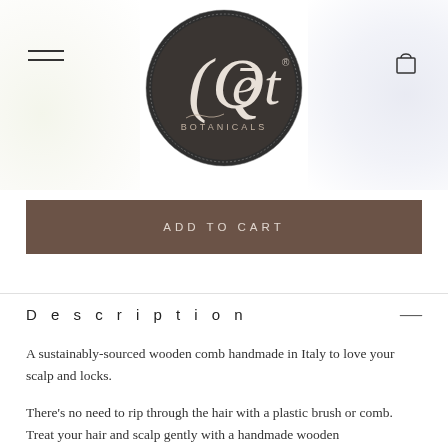[Figure (logo): Qet Botanicals circular logo — dark charcoal circular badge with decorative border and the text 'Qet BOTANICALS' in white serif/script lettering]
[Figure (other): ADD TO CART button — dark brown/taupe horizontal button]
Description
A sustainably-sourced wooden comb handmade in Italy to love your scalp and locks.
There's no need to rip through the hair with a plastic brush or comb. Treat your hair and scalp gently with a handmade wooden